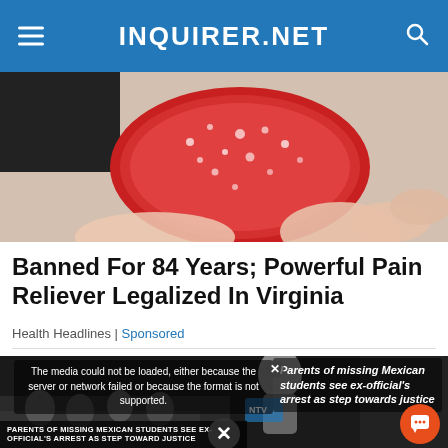INQUIRER.NET
[Figure (photo): Close-up of a red gummy candy held in a hand, with sugar crystals on top]
Banned For 84 Years; Powerful Pain Reliever Legalized In Virginia
Health Headlines | Sponsored
[Figure (screenshot): Video player showing a person at a news event; overlay text: 'The media could not be loaded, either because the server or network failed or because the format is not supported.' News caption: 'Parents of missing Mexican students see ex-official's arrest as step towards justice'. Banner text: 'PARENTS OF MISSING MEXICAN STUDENTS SEE EX-OFFICIAL'S ARREST AS STEP TOWARD JUSTICE']